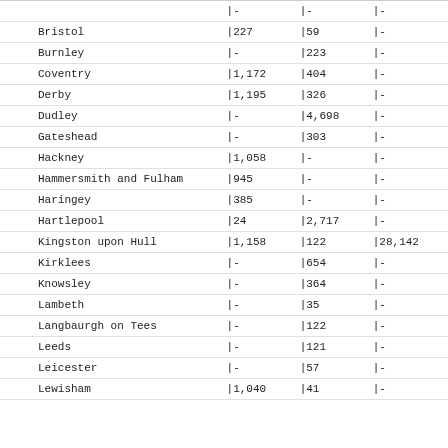| Area | Col1 | Col2 | Col3 |
| --- | --- | --- | --- |
| Bristol | |227 | |59 | |- |
| Burnley | |- | |223 | |- |
| Coventry | |1,172 | |404 | |- |
| Derby | |1,195 | |326 | |- |
| Dudley | |- | |4,698 | |- |
| Gateshead | |- | |303 | |- |
| Hackney | |1,058 | |- | |- |
| Hammersmith and Fulham | |945 | |- | |- |
| Haringey | |385 | |- | |- |
| Hartlepool | |24 | |2,717 | |- |
| Kingston upon Hull | |1,158 | |122 | |28,142 |
| Kirklees | |- | |654 | |- |
| Knowsley | |- | |364 | |- |
| Lambeth | |- | |35 | |- |
| Langbaurgh on Tees | |- | |122 | |- |
| Leeds | |- | |121 | |- |
| Leicester | |- | |57 | |- |
| Lewisham | |1,040 | |41 | |- |